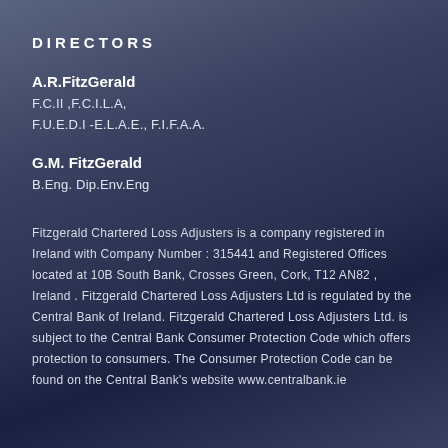DIRECTORS
A.R.FitzGerald
F.C.II ,F.C.I.L.A,
F.U.E.D.I -E.L.A.E., F.I.F.A.A.
G.M. FitzGerald
B.Eng. Dip.Env.Eng
Fitzgerald Chartered Loss Adjusters is a company registered in Ireland with Company Number : 315441 and Registered Offices located at 10B South Bank, Crosses Green, Cork, T12 AN82 , Ireland . Fitzgerald Chartered Loss Adjusters Ltd is regulated by the Central Bank of Ireland. Fitzgerald Chartered Loss Adjusters Ltd. is subject to the Central Bank Consumer Protection Code which offers protection to consumers. The Consumer Protection Code can be found on the Central Bank's website www.centralbank.ie